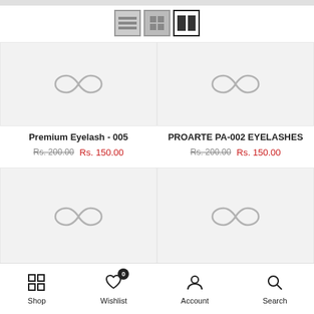[Figure (screenshot): View toggle icons: list view, grid view, and split/column view (active)]
[Figure (photo): Product image placeholder for Premium Eyelash - 005 with infinity logo]
Premium Eyelash - 005
Rs. 200.00 Rs. 150.00
[Figure (photo): Product image placeholder for PROARTE PA-002 EYELASHES with infinity logo]
PROARTE PA-002 EYELASHES
Rs. 200.00 Rs. 150.00
[Figure (photo): Product image placeholder bottom-left with infinity logo]
[Figure (photo): Product image placeholder bottom-right with infinity logo]
Shop   Wishlist 0   Account   Search